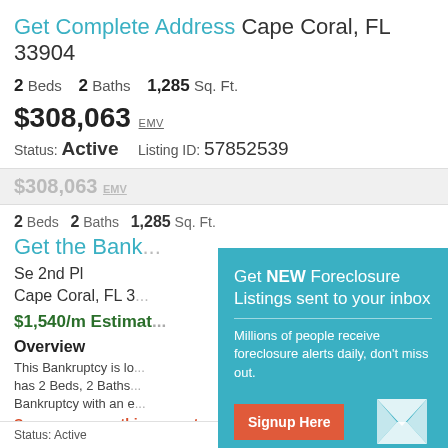Get Complete Address Cape Coral, FL 33904
2 Beds  2 Baths  1,285 Sq. Ft.
$308,063 EMV
Status: Active   Listing ID: 57852539
$308,063 EMV
2 Beds  2 Baths  1,285 Sq. Ft.
Get the Bank...
Se 2nd Pl
Cape Coral, FL 3...
$1,540/m Estimat...
Overview
This Bankruptcy is lo... has 2 Beds, 2 Baths... Bankruptcy with an e...
Save money on this property now.
[Figure (screenshot): Popup overlay with cyan background: 'Get NEW Foreclosure Listings sent to your inbox', with a Signup Here button, mail icon, and 'No Thanks | Remind Me Later' link]
Status: Active    Listing ID: 57852539